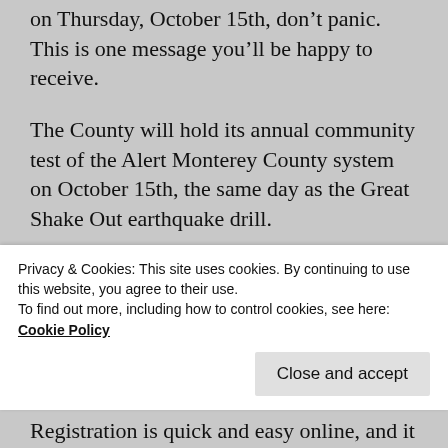on Thursday, October 15th, don't panic. This is one message you'll be happy to receive.
The County will hold its annual community test of the Alert Monterey County system on October 15th, the same day as the Great Shake Out earthquake drill.
The Alert Monterey County system is used to notify the public of important public safety information such as natural disasters, evacuations, wide-area power blackouts, urgent law enforcement
Privacy & Cookies: This site uses cookies. By continuing to use this website, you agree to their use.
To find out more, including how to control cookies, see here: Cookie Policy
Registration is quick and easy online, and it allow